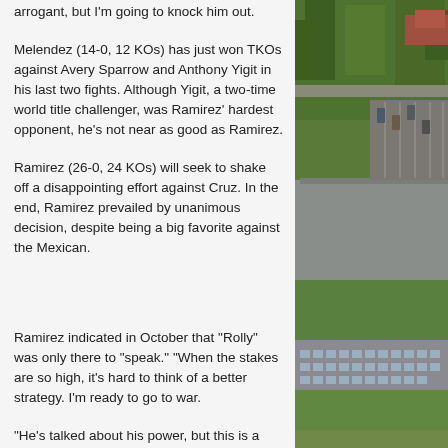arrogant, but I'm going to knock him out.
Melendez (14-0, 12 KOs) has just won TKOs against Avery Sparrow and Anthony Yigit in his last two fights. Although Yigit, a two-time world title challenger, was Ramirez' hardest opponent, he's not near as good as Ramirez.
Ramirez (26-0, 24 KOs) will seek to shake off a disappointing effort against Cruz. In the end, Ramirez prevailed by unanimous decision, despite being a big favorite against the Mexican.
Ramirez indicated in October that "Rolly" was only there to "speak." "When the stakes are so high, it's hard to think of a better strategy. I'm ready to go to war.
"He's talked about his power, but this is a fight. His abilities fall well short of mine.
[Figure (photo): Aerial photograph showing green trees, buildings with grey rooftops, and a parking lot, taken from above.]